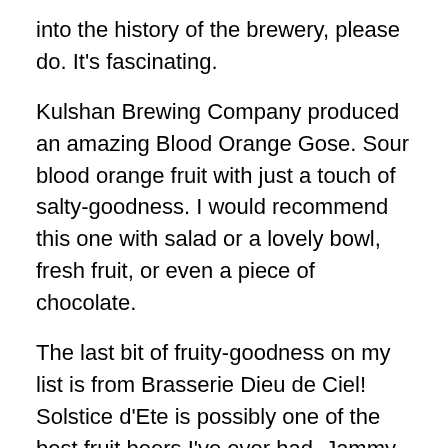into the history of the brewery, please do. It's fascinating.
Kulshan Brewing Company produced an amazing Blood Orange Gose. Sour blood orange fruit with just a touch of salty-goodness. I would recommend this one with salad or a lovely bowl, fresh fruit, or even a piece of chocolate.
The last bit of fruity-goodness on my list is from Brasserie Dieu de Ciel! Solstice d'Ete is possibly one of the best fruit beers I've ever had. Jammy, effervescent, real Fruit from start to finish. I couldn't get enough of this gem. No food with this one. You need to experience it on its own.
Thankfully, fruit beers are no longer considered “chick beers.” Over the last decade respect for the beer style has grown.
If you want to spice up, or sweeten up, your summer, grab